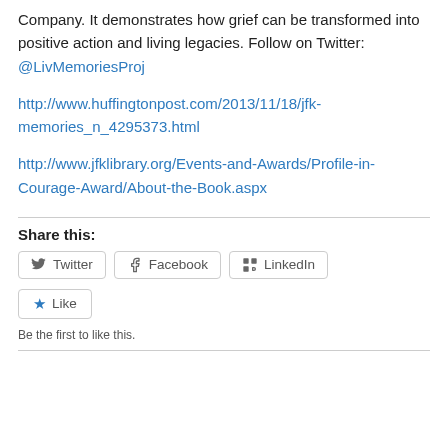Company. It demonstrates how grief can be transformed into positive action and living legacies. Follow on Twitter: @LivMemoriesProj
http://www.huffingtonpost.com/2013/11/18/jfk-memories_n_4295373.html
http://www.jfklibrary.org/Events-and-Awards/Profile-in-Courage-Award/About-the-Book.aspx
Share this:
Twitter  Facebook  LinkedIn
Like
Be the first to like this.